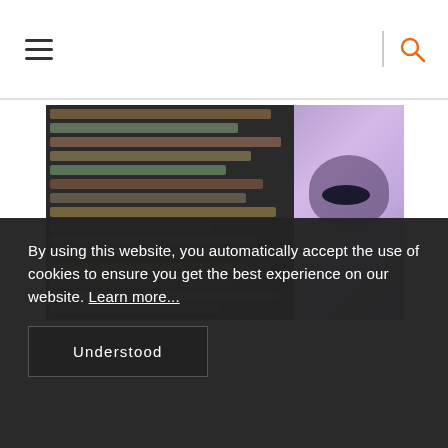Navigation bar with hamburger menu and search icon
[Figure (photo): Hero image showing code text on dark background on the left side, and a glowing AI face/robot head on purple/violet background on the right side]
By using this website, you automatically accept the use of cookies to ensure you get the best experience on our website. Learn more...
Understood